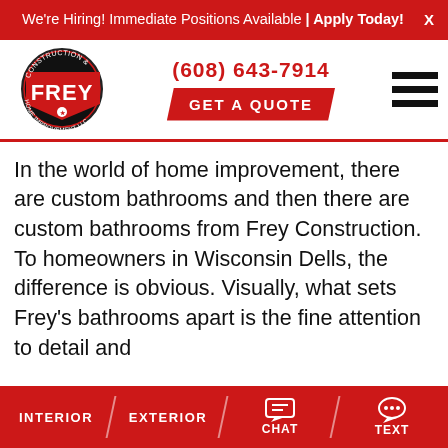We're Hiring! Immediate Positions Available | Apply Today!
[Figure (logo): Frey Construction & Home Improvement LLC circular logo with red arrow]
(608) 643-7914
GET A QUOTE
In the world of home improvement, there are custom bathrooms and then there are custom bathrooms from Frey Construction. To homeowners in Wisconsin Dells, the difference is obvious. Visually, what sets Frey's bathrooms apart is the fine attention to detail and
INTERIOR   EXTERIOR   CHAT   TEXT